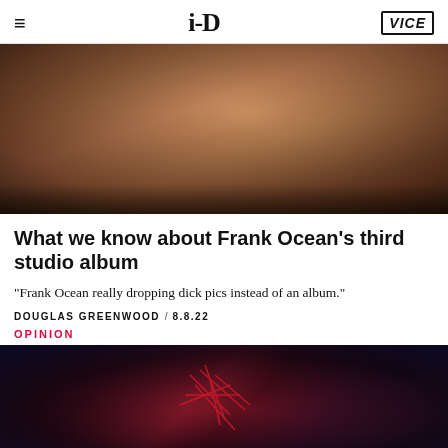i-D | VICE
[Figure (photo): Close-up photo of a person's face, warm brown skin tones, dark background, partial view]
What we know about Frank Ocean's third studio album
"Frank Ocean really dropping dick pics instead of an album."
DOUGLAS GREENWOOD / 8.8.22
OPINION
[Figure (photo): Dark image with red glowing lines/shapes, dramatic lighting, dark blue and black background on right side]